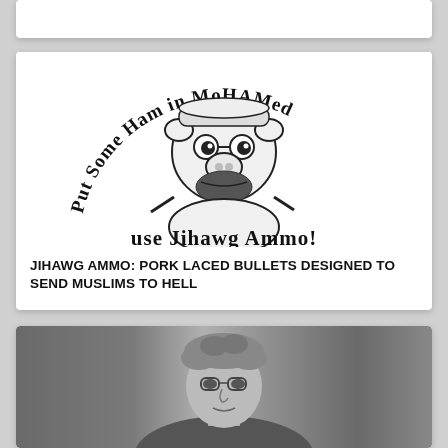[Figure (other): Top card partially visible, white background card]
[Figure (illustration): Cartoon pig dressed in Middle Eastern clothing with text arched above reading 'Put Some Ham in MoHAMed' and below 'use Jihawg Ammo!' on white card background]
JIHAWG AMMO: PORK LACED BULLETS DESIGNED TO SEND MUSLIMS TO HELL
[Figure (photo): Black and white photograph of a person, only top portion visible showing head and shoulders]